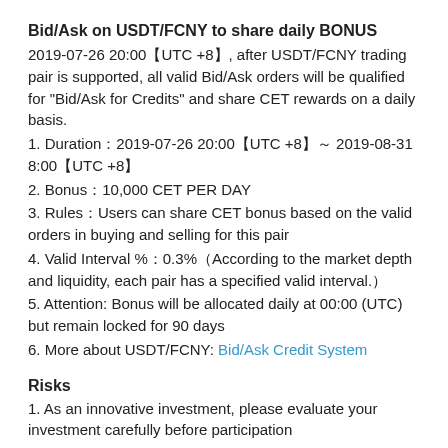Bid/Ask on USDT/FCNY to share daily BONUS
2019-07-26 20:00「UTC +8」, after USDT/FCNY trading pair is supported, all valid Bid/Ask orders will be qualified for "Bid/Ask for Credits" and share CET rewards on a daily basis.
1. Duration：2019-07-26 20:00「UTC +8」～ 2019-08-31 8:00「UTC +8」
2. Bonus：10,000 CET PER DAY
3. Rules：Users can share CET bonus based on the valid orders in buying and selling for this pair
4. Valid Interval %：0.3%（According to the market depth and liquidity, each pair has a specified valid interval.）
5. Attention: Bonus will be allocated daily at 00:00 (UTC) but remain locked for 90 days
6. More about USDT/FCNY: Bid/Ask Credit System
Risks
1. As an innovative investment, please evaluate your investment carefully before participation